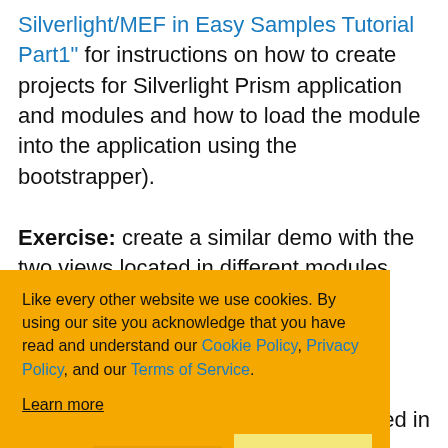Silverlight/MEF in Easy Samples Tutorial Part1" for instructions on how to create projects for Silverlight Prism application and modules and how to load the module into the application using the bootstrapper).
Exercise: create a similar demo with the two views located in different modules instead of them being within the same module. (Since several people had difficulty with this exercise, I added another sample ...ws located in ...ies.zip).
...odel ...2 view ...equest ...ons ToNavigationTarget, OnNavigatedFrom...